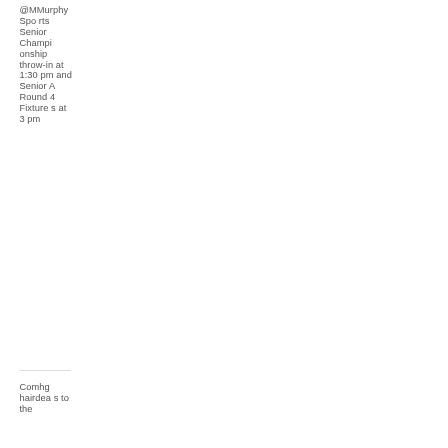@MMurphySports Senior Championship throw-in at 1:30 pm and Senior A Round 4 Fixtures at 3 pm
Comhg hairdeas to the